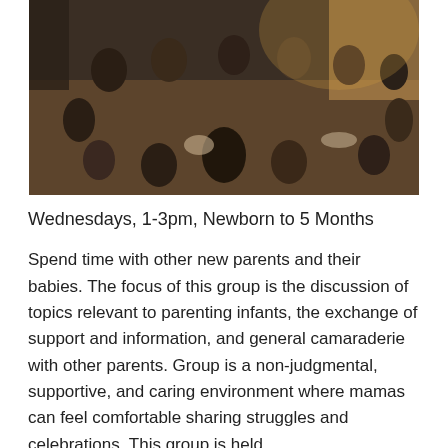[Figure (photo): Group of new parents and babies sitting in a circle on the floor of a room, engaged in a group discussion or support meeting. Warm indoor lighting, wooden floor, curtains visible in background.]
Wednesdays, 1-3pm, Newborn to 5 Months
Spend time with other new parents and their babies. The focus of this group is the discussion of topics relevant to parenting infants, the exchange of support and information, and general camaraderie with other parents. Group is a non-judgmental, supportive, and caring environment where mamas can feel comfortable sharing struggles and celebrations. This group is held